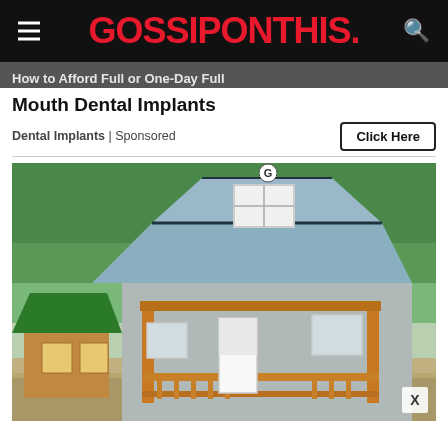GOSSIPONTHIS.
How to Afford Full or One-Day Full Mouth Dental Implants
Dental Implants | Sponsored
[Figure (photo): A grey and white small cabin/shed building with a gambrel (barn-style) metal roof and wooden porch framing, set on a gravel lot with trees in background. A smaller cabin with green roof is visible to the left.]
X